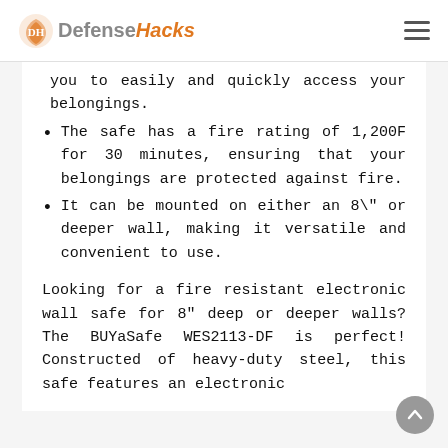DefenseHacks
you to easily and quickly access your belongings.
The safe has a fire rating of 1,200F for 30 minutes, ensuring that your belongings are protected against fire.
It can be mounted on either an 8\" or deeper wall, making it versatile and convenient to use.
Looking for a fire resistant electronic wall safe for 8" deep or deeper walls? The BUYaSafe WES2113-DF is perfect! Constructed of heavy-duty steel, this safe features an electronic